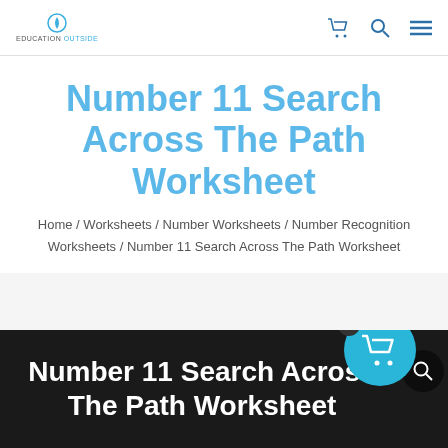Education Outside — navigation header with cart, search, and menu icons
Number 11 Search Across The Path Worksheet
Home / Worksheets / Number Worksheets / Number Recognition Worksheets / Number 11 Search Across The Path Worksheet
[Figure (screenshot): Black banner preview image showing white bold text: Number 11 Search Across The Path Worksheet, with a teal cart button overlay and badge showing 0]